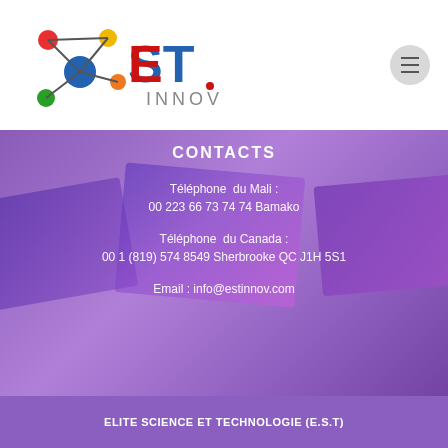[Figure (logo): EST INNOV logo with colorful molecule/network dots and red/blue EST text with grey INNOV text]
CONTACTS
Téléphone  du Mali :
00 223 66 73 74 74 Bamako
Téléphone  du Canada :
00 1 (819) 574 8549 Sherbrooke QC J1H 5S1
Email : info@estinnov.com
ELITE SCIENCE ET TECHNOLOGIE (E.S.T)